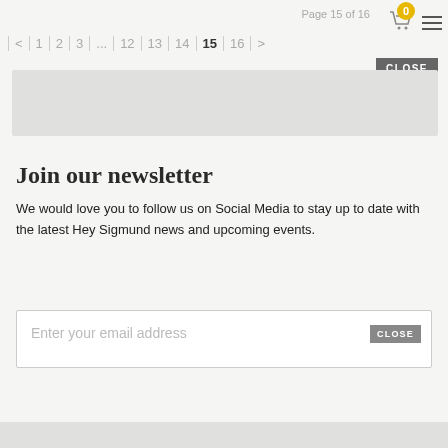Page 15 of 16
< | 1 | 2 | 3 | ... | 12 | 13 | 14 | 15 | 16 | >
[Figure (screenshot): CLOSE button in dark grey]
[Figure (screenshot): Grey advertisement banner placeholder]
Join our newsletter
We would love you to follow us on Social Media to stay up to date with the latest Hey Sigmund news and upcoming events.
Enter your email address
[Figure (screenshot): CLOSE button in grey on email box]